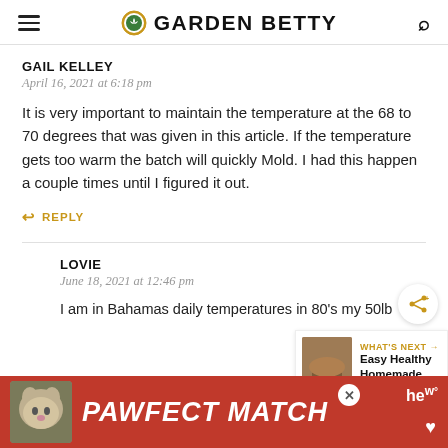GARDEN BETTY
GAIL KELLEY
April 16, 2021 at 6:18 pm
It is very important to maintain the temperature at the 68 to 70 degrees that was given in this article. If the temperature gets too warm the batch will quickly Mold. I had this happen a couple times until I figured it out.
REPLY
LOVIE
June 18, 2021 at 12:46 pm
I am in Bahamas daily temperatures in 80's my 50lb
[Figure (other): PAWFECT MATCH advertisement banner at the bottom with a cat image]
[Figure (other): WHAT'S NEXT arrow box showing Easy Healthy Homemade...]